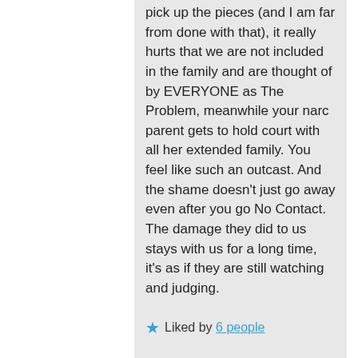pick up the pieces (and I am far from done with that), it really hurts that we are not included in the family and are thought of by EVERYONE as The Problem, meanwhile your narc parent gets to hold court with all her extended family. You feel like such an outcast. And the shame doesn't just go away even after you go No Contact. The damage they did to us stays with us for a long time, it's as if they are still watching and judging.
Liked by 6 people